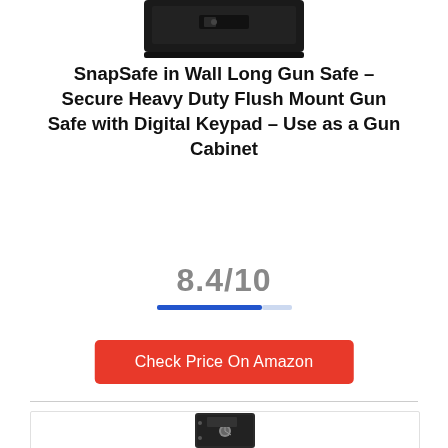[Figure (photo): Top portion of a black in-wall gun safe, partially visible at the top of the page]
SnapSafe in Wall Long Gun Safe – Secure Heavy Duty Flush Mount Gun Safe with Digital Keypad – Use as a Gun Cabinet
8.4/10
[Figure (infographic): Score progress bar: blue filled portion and light blue empty portion indicating 8.4 out of 10]
Check Price On Amazon
[Figure (photo): Black tall gun safe with combination dial lock, partial view at bottom of page]